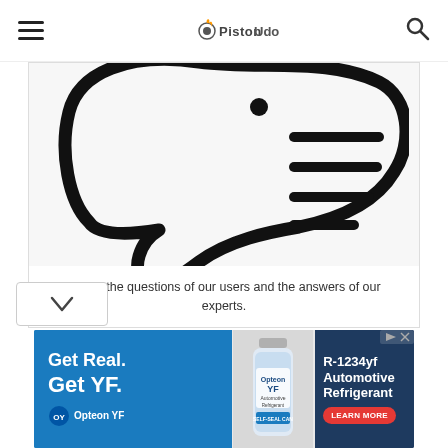PistonUdos
[Figure (illustration): Large fish/speech bubble icon line art illustration in black on light gray background]
Check the questions of our users and the answers of our experts.
[Figure (infographic): Advertisement banner: Get Real. Get YF. Opteon YF automotive refrigerant R-1234yf. Learn More button.]